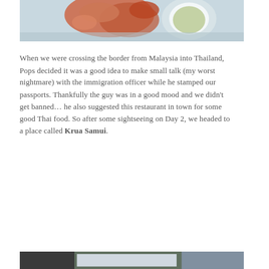[Figure (photo): Top portion of a food photo showing a crab dish on a blue plate with a dipping sauce in a white bowl, on a light blue background.]
When we were crossing the border from Malaysia into Thailand, Pops decided it was a good idea to make small talk (my worst nightmare) with the immigration officer while he stamped our passports. Thankfully the guy was in a good mood and we didn't get banned… he also suggested this restaurant in town for some good Thai food. So after some sightseeing on Day 2, we headed to a place called Krua Samui.
[Figure (photo): Bottom portion of another photo, partially visible, showing what appears to be an outdoor scene or restaurant exterior.]